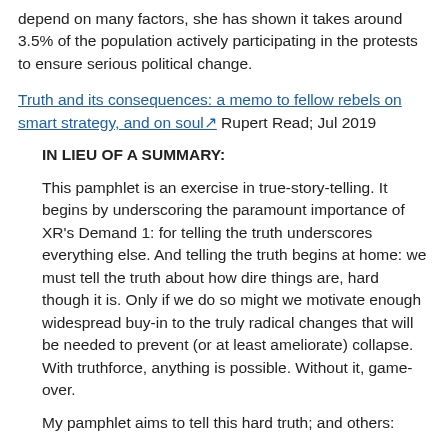depend on many factors, she has shown it takes around 3.5% of the population actively participating in the protests to ensure serious political change.
Truth and its consequences: a memo to fellow rebels on smart strategy, and on soul [link] Rupert Read; Jul 2019
IN LIEU OF A SUMMARY:
This pamphlet is an exercise in true-story-telling. It begins by underscoring the paramount importance of XR's Demand 1: for telling the truth underscores everything else. And telling the truth begins at home: we must tell the truth about how dire things are, hard though it is. Only if we do so might we motivate enough widespread buy-in to the truly radical changes that will be needed to prevent (or at least ameliorate) collapse. With truthforce, anything is possible. Without it, game-over.
My pamphlet aims to tell this hard truth; and others:
I argue that in order to make the hard truth about how bad things are and how much and fast everything has to change palatable, we need to ensure that the citizenry understand that the privileged are not going to get away with not transforming